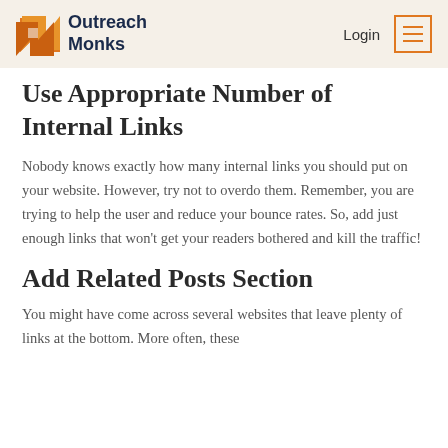Outreach Monks | Login
Use Appropriate Number of Internal Links
Nobody knows exactly how many internal links you should put on your website. However, try not to overdo them. Remember, you are trying to help the user and reduce your bounce rates. So, add just enough links that won't get your readers bothered and kill the traffic!
Add Related Posts Section
You might have come across several websites that leave plenty of links at the bottom. More often, these